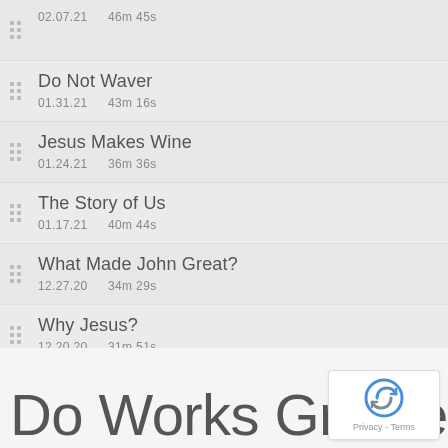02.07.21  46m 45s
Do Not Waver
01.31.21  43m 16s
Jesus Makes Wine
01.24.21  36m 36s
The Story of Us
01.17.21  40m 44s
What Made John Great?
12.27.20  34m 29s
Why Jesus?
12.20.20  31m 51s
The Word of Light and Life
12.13.20  34m 02s
Do Works Greater Tha…